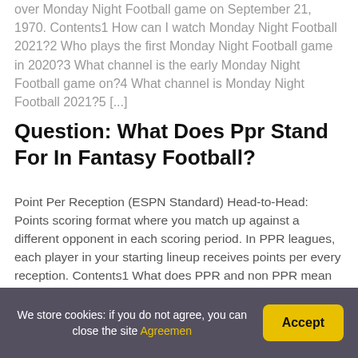over Monday Night Football game on September 21, 1970. Contents1 How can I watch Monday Night Football 2021?2 Who plays the first Monday Night Football game in 2020?3 What channel is the early Monday Night Football game on?4 What channel is Monday Night Football 2021?5 [...]
Question: What Does Ppr Stand For In Fantasy Football?
Point Per Reception (ESPN Standard) Head-to-Head: Points scoring format where you match up against a different opponent in each scoring period. In PPR leagues, each player in your starting lineup receives points per every reception. Contents1 What does PPR and non PPR mean in fantasy football?2 How do I know if my fantasy football league [...]
We store cookies: if you do not agree, you can close the site Agreemen